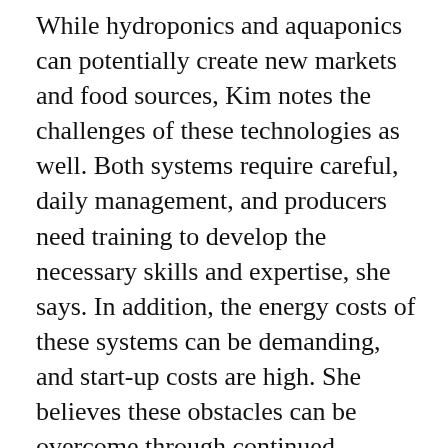While hydroponics and aquaponics can potentially create new markets and food sources, Kim notes the challenges of these technologies as well. Both systems require careful, daily management, and producers need training to develop the necessary skills and expertise, she says. In addition, the energy costs of these systems can be demanding, and start-up costs are high. She believes these obstacles can be overcome through continued research and technological development.
Nemali isn't shy about sharing his enthusiasm for CEA, but he tempers his expectations with a healthy appreciation for